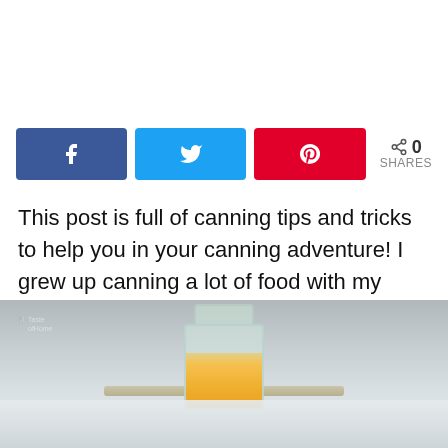[Figure (infographic): Social sharing buttons: Facebook (blue), Twitter (light blue), Pinterest (red), and a share count showing 0 SHARES]
This post is full of canning tips and tricks to help you in your canning adventure! I grew up canning a lot of food with my family, and I continue canning yummy food for my kids.
[Figure (photo): Photo of canning jars on a surface, with a central jar filled with yellow/orange food (peaches or corn), flanked by flat lids, against a grey background. A small logo/watermark is visible in the upper left of the photo.]